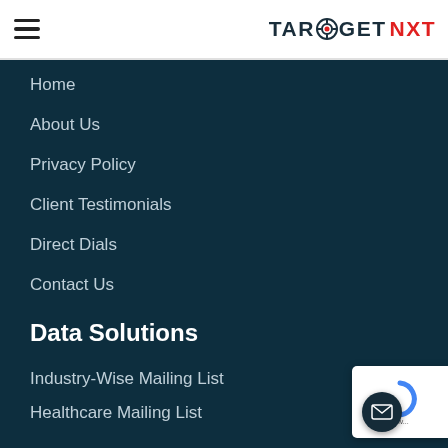TARGET NXT (logo with navigation hamburger icon)
Home
About Us
Privacy Policy
Client Testimonials
Direct Dials
Contact Us
Data Solutions
Industry-Wise Mailing List
Healthcare Mailing List